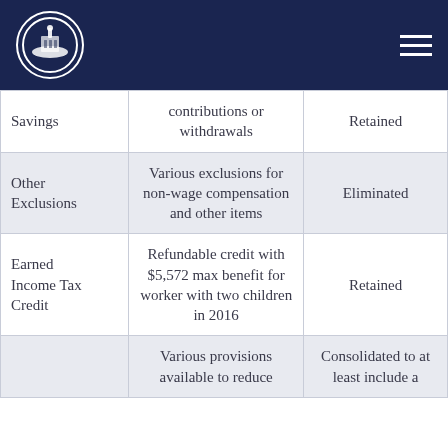Government document header with capitol building logo
| Category | Description | Status |
| --- | --- | --- |
| Savings | contributions or withdrawals | Retained |
| Other Exclusions | Various exclusions for non-wage compensation and other items | Eliminated |
| Earned Income Tax Credit | Refundable credit with $5,572 max benefit for worker with two children in 2016 | Retained |
|  | Various provisions available to reduce | Consolidated to at least include a |